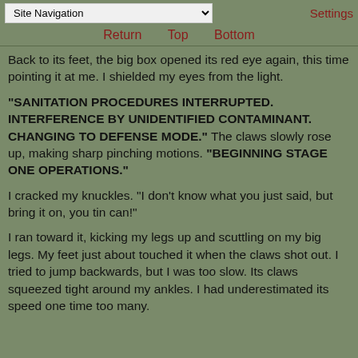Site Navigation | Return | Top | Bottom | Settings
Back to its feet, the big box opened its red eye again, this time pointing it at me. I shielded my eyes from the light.
"SANITATION PROCEDURES INTERRUPTED. INTERFERENCE BY UNIDENTIFIED CONTAMINANT. CHANGING TO DEFENSE MODE." The claws slowly rose up, making sharp pinching motions. "BEGINNING STAGE ONE OPERATIONS."
I cracked my knuckles. "I don't know what you just said, but bring it on, you tin can!"
I ran toward it, kicking my legs up and scuttling on my big legs. My feet just about touched it when the claws shot out. I tried to jump backwards, but I was too slow. Its claws squeezed tight around my ankles. I had underestimated its speed one time too many.